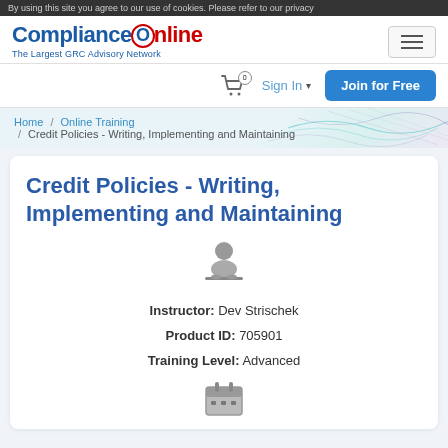By using this site you agree to our use of cookies. Please refer to our privacy
[Figure (logo): ComplianceOnline logo - The Largest GRC Advisory Network]
Sign In
Join for Free
Home / Online Training / Credit Policies - Writing, Implementing and Maintaining
Credit Policies - Writing, Implementing and Maintaining
[Figure (illustration): Instructor/person icon - silhouette of a person at desk]
Instructor: Dev Strischek
Product ID: 705901
Training Level: Advanced
[Figure (illustration): Calendar icon at bottom]